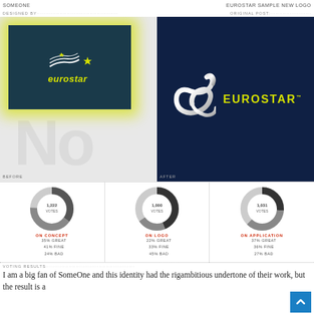SomeOne | Eurostar Sample New Logo
DESIGNED BY | ORIGINAL POST:
[Figure (photo): Before: Old Eurostar logo on dark teal background with yellow star and wave motifs and yellow italic 'eurostar' text. Shown with yellow glow effect on grey background with 'No' watermark.]
[Figure (logo): After: New Eurostar logo on dark navy background featuring a silver/chrome stylized 'e' ribbon mark with 'EUROSTAR™' text in yellow.]
[Figure (donut-chart): Donut chart showing 1,222 votes: 35% Great, 41% Fine, 24% Bad]
[Figure (donut-chart): Donut chart showing 1,000 votes: 22% Great, 33% Fine, 45% Bad]
[Figure (donut-chart): Donut chart showing 1,031 votes: 37% Great, 36% Fine, 27% Bad]
VOTING RESULTS
I am a big fan of SomeOne and this identity had the rig ambitious undertone of their work, but the result is a